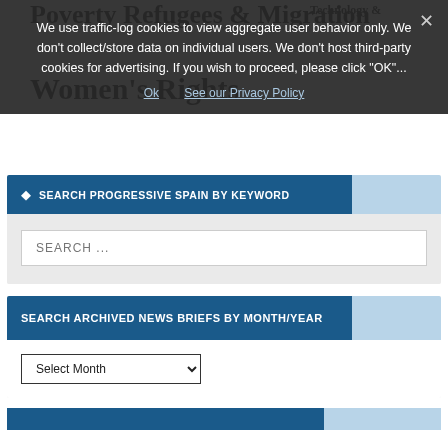Poverty Refugees & Migration Technology &
Women's Rights
We use traffic-log cookies to view aggregate user behavior only. We don't collect/store data on individual users. We don't host third-party cookies for advertising. If you wish to proceed, please click "OK"...
Ok   See our Privacy Policy
SEARCH PROGRESSIVE SPAIN BY KEYWORD
SEARCH ...
SEARCH ARCHIVED NEWS BRIEFS BY MONTH/YEAR
Select Month